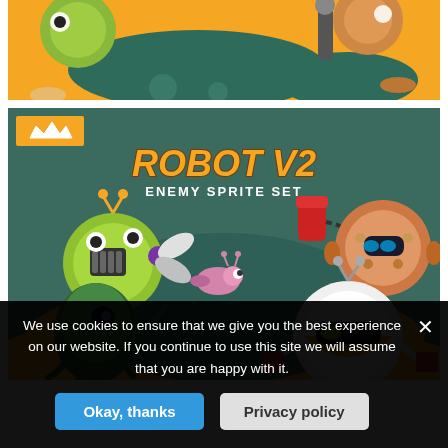[Figure (illustration): Top portion of a game asset promotional image showing robot characters on orange/yellow background with dark teal blob shapes. Partial view of cartoon robot characters.]
[Figure (illustration): Robot V2 Enemy Sprite Set promotional image. Dark teal/green background with yellow blob floor. Multiple cartoon robot characters: yellow-green round robot with antenna and propeller, pink/orange small fish-like robot, dark green squid-like robot, orange-pink large round robot with visor, and white/orange large spherical robot with eye visor. Title reads 'ROBOT V2 ENEMY SPRITE SET' in orange bold italic text. Orange badge with crown icon in top-left corner.]
We use cookies to ensure that we give you the best experience on our website. If you continue to use this site we will assume that you are happy with it.
Okay, thanks
Privacy policy